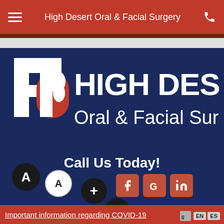High Desert Oral & Facial Surgery
[Figure (logo): High Desert Oral & Facial Surgery logo with stylized HD letters and facial profile graphic in white and orange-red on dark blue background, with text HIGH DESERT Oral & Facial Surgery]
Call Us Today!
[Figure (infographic): Social media icons: Facebook (f), Google (G), LinkedIn (in) in orange-red on dark blue]
[Figure (infographic): Accessibility and font-size control buttons: large A (black circle), small A (white circle), plus (black circle), minus (black circle), reset/refresh (black circle), wheelchair accessibility (teal circle)]
Important information regarding COVID-19